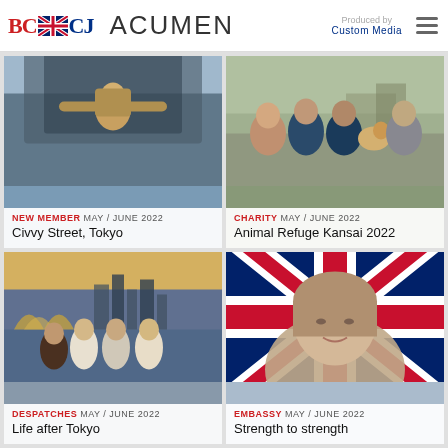BCCJ ACUMEN — Produced by Custom Media
[Figure (photo): Person skydiving from a military aircraft]
NEW MEMBER MAY / JUNE 2022 — Civvy Street, Tokyo
[Figure (photo): Four women smiling, one holding a dog, outdoors with buildings in background]
CHARITY MAY / JUNE 2022 — Animal Refuge Kansai 2022
[Figure (photo): Group of people smiling in front of Sydney Opera House and city skyline]
DESPATCHES MAY / JUNE 2022 — Life after Tokyo
[Figure (photo): Woman smiling in front of Union Jack flag]
EMBASSY MAY / JUNE 2022 — Strength to strength